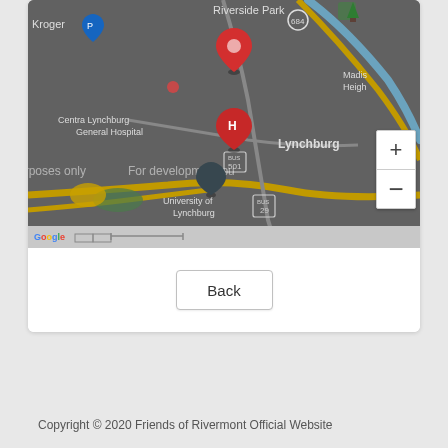[Figure (map): Google Map showing Lynchburg, VA area with markers near Riverside Park and Centra Lynchburg General Hospital. Map shows roads, University of Lynchburg, Madison Heights area, route markers (684, 501, 29, 63). Red pin marker visible near Riverside Park, hospital marker near General Hospital. Zoom controls (+/-) on right side. 'For development purposes only' watermark visible.]
Back
Copyright © 2020 Friends of Rivermont Official Website